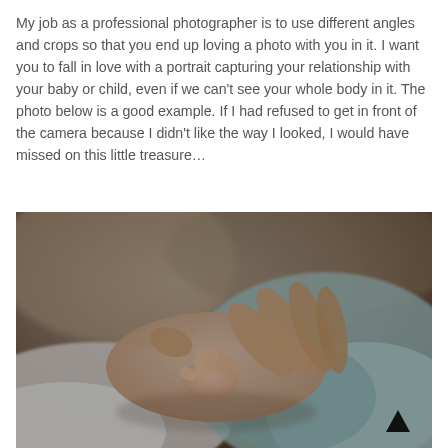My job as a professional photographer is to use different angles and crops so that you end up loving a photo with you in it. I want you to fall in love with a portrait capturing your relationship with your baby or child, even if we can't see your whole body in it. The photo below is a good example. If I had refused to get in front of the camera because I didn't like the way I looked, I would have missed on this little treasure…
[Figure (photo): Close-up photograph of a newborn baby's tiny hand resting on an adult's hand, with the baby dressed in a light blue outfit. The background is softly blurred with warm tones.]